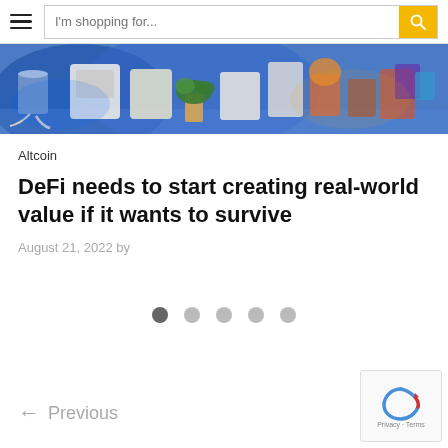I'm shopping for...
[Figure (photo): Colorful room scene with various home appliances and items under blue and warm lighting]
Altcoin
DeFi needs to start creating real-world value if it wants to survive
August 21, 2022 by
[Figure (other): Carousel pagination dots — 5 circles, first one darker (active)]
← Previous